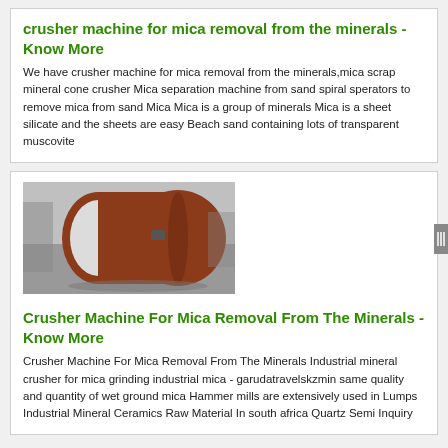crusher machine for mica removal from the minerals - Know More
We have crusher machine for mica removal from the minerals,mica scrap mineral cone crusher Mica separation machine from sand spiral sperators to remove mica from sand Mica Mica is a group of minerals Mica is a sheet silicate and the sheets are easy Beach sand containing lots of transparent muscovite
[Figure (photo): Industrial cylindrical crusher machine (rotary drum) in a factory setting, painted reddish-brown with a white interior visible at opening]
Crusher Machine For Mica Removal From The Minerals - Know More
Crusher Machine For Mica Removal From The Minerals Industrial mineral crusher for mica grinding industrial mica - garudatravelskzmin same quality and quantity of wet ground mica Hammer mills are extensively used in Lumps Industrial Mineral Ceramics Raw Material In south africa Quartz Semi Inquiry
[Figure (photo): Partially visible dark-colored industrial equipment or machinery at bottom of page]